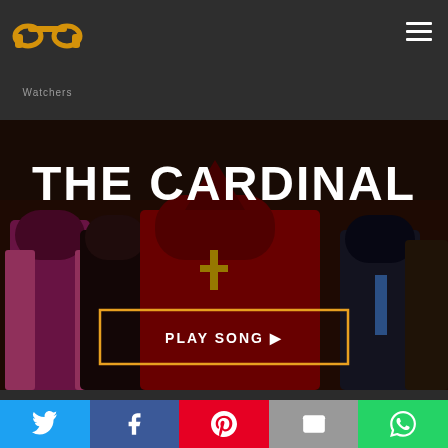[Figure (logo): PP Watchers logo with golden headphones/ram horn icon and grey 'Watchers' text below]
[Figure (photo): Screenshot of 'The Cardinal' movie/music page showing people in red cardinal robes, with large white bold title 'THE CARDINAL' overlaid and an orange-bordered 'PLAY SONG ▶' button]
[Figure (infographic): Social share bar with five buttons: Twitter (blue bird), Facebook (blue f), Pinterest (red P), Email (grey envelope), WhatsApp (green phone)]